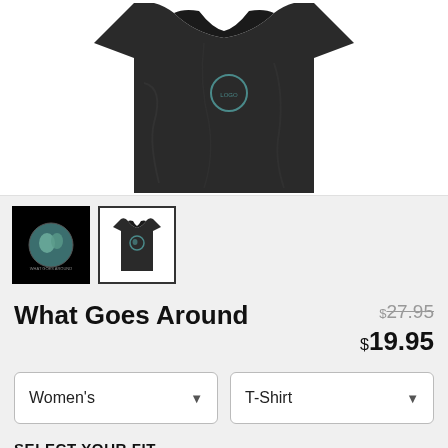[Figure (photo): A dark/black t-shirt product photo on white background, partially cropped, showing the shirt folded or displayed. A small circular logo with earth design is visible on the shirt.]
[Figure (photo): Two product thumbnail images: first is a black square showing a circular globe/earth logo with text 'What Goes Around Comes Around'; second shows the dark t-shirt with the same logo, selected/highlighted with a border.]
What Goes Around
$27.95 (strikethrough original price) $19.95 (sale price)
Women's (dropdown) T-Shirt (dropdown)
SELECT YOUR FIT